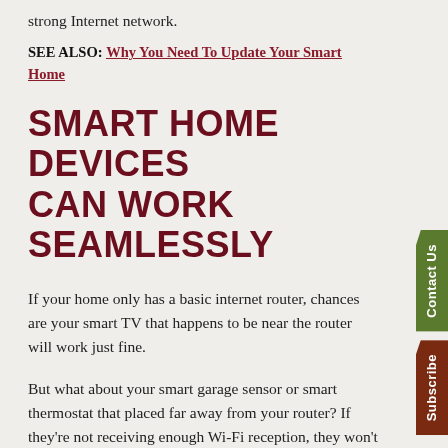strong Internet network.
SEE ALSO: Why You Need To Update Your Smart Home
SMART HOME DEVICES CAN WORK SEAMLESSLY
If your home only has a basic internet router, chances are your smart TV that happens to be near the router will work just fine.
But what about your smart garage sensor or smart thermostat that placed far away from your router? If they're not receiving enough Wi-Fi reception, they won't be working the way they should.
Your smart home devices also can underperform due to a lack of bandwidth space.
When multiple devices in your home simultaneously try to access your Wi-Fi but your router can't support large amounts of traffic, you'll experience lag and slow-response times.